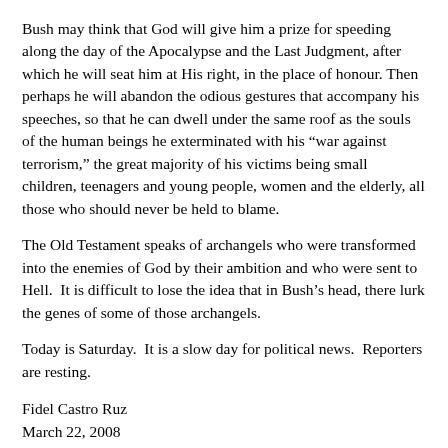Bush may think that God will give him a prize for speeding along the day of the Apocalypse and the Last Judgment, after which he will seat him at His right, in the place of honour. Then perhaps he will abandon the odious gestures that accompany his speeches, so that he can dwell under the same roof as the souls of the human beings he exterminated with his “war against terrorism,” the great majority of his victims being small children, teenagers and young people, women and the elderly, all those who should never be held to blame.
The Old Testament speaks of archangels who were transformed into the enemies of God by their ambition and who were sent to Hell.  It is difficult to lose the idea that in Bush’s head, there lurk the genes of some of those archangels.
Today is Saturday.  It is a slow day for political news.  Reporters are resting.
Fidel Castro Ruz
March 22, 2008
5:19 p.m.